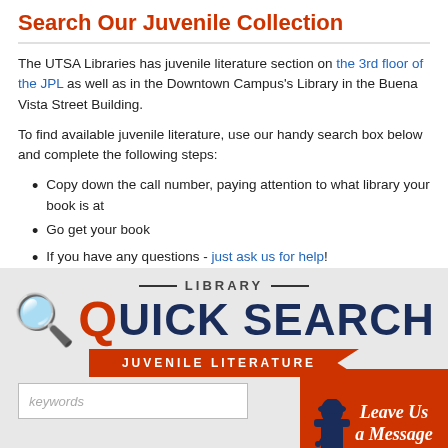Search Our Juvenile Collection
The UTSA Libraries has juvenile literature section on the 3rd floor of the JPL as well as in the Downtown Campus's Library in the Buena Vista Street Building.
To find available juvenile literature, use our handy search box below and complete the following steps:
Copy down the call number, paying attention to what library your book is at
Go get your book
If you have any questions - just ask us for help!
[Figure (infographic): Library Quick Search widget with 'LIBRARY' header, large 'QUICK SEARCH' title with orange Q magnifying glass icon, orange banner reading 'JUVENILE LITERATURE', a keywords search input box, and a 'Leave Us a Message' orange box in the bottom right with a detective silhouette.]